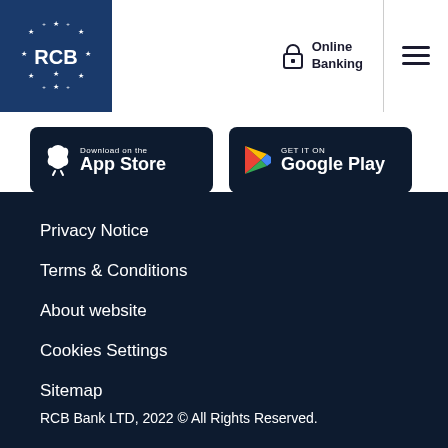RCB Bank - Online Banking
[Figure (logo): RCB Bank logo - blue square with stars and RCB text]
[Figure (screenshot): Download on the App Store button]
[Figure (screenshot): Get it on Google Play button]
Privacy Notice
Terms & Conditions
About website
Cookies Settings
Sitemap
RCB Bank LTD, 2022 © All Rights Reserved.